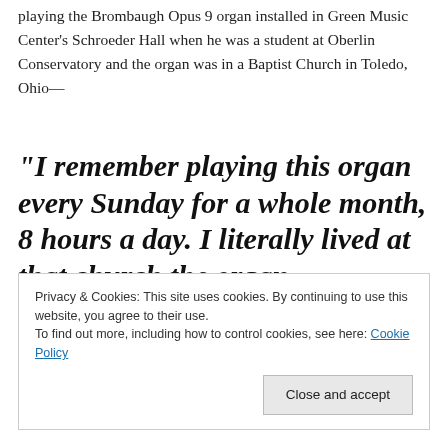playing the Brombaugh Opus 9 organ installed in Green Music Center's Schroeder Hall when he was a student at Oberlin Conservatory and the organ was in a Baptist Church in Toledo, Ohio—
“I remember playing this organ every Sunday for a whole month, 8 hours a day. I literally lived at that church the organ
Privacy & Cookies: This site uses cookies. By continuing to use this website, you agree to their use.
To find out more, including how to control cookies, see here: Cookie Policy
[Close and accept]